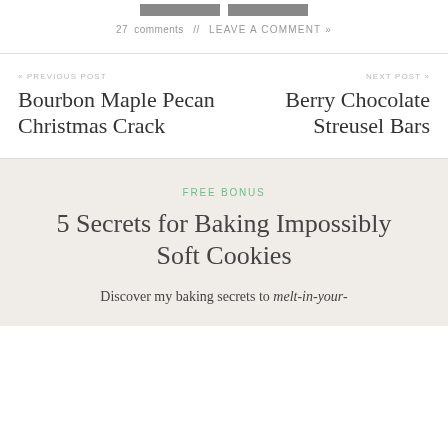[Figure (other): Two dark gray button/image placeholders side by side at the top]
27 comments // LEAVE A COMMENT »
« PREVIOUS POST
Bourbon Maple Pecan Christmas Crack
NEXT POST »
Berry Chocolate Streusel Bars
FREE BONUS
5 Secrets for Baking Impossibly Soft Cookies
Discover my baking secrets to melt-in-your-